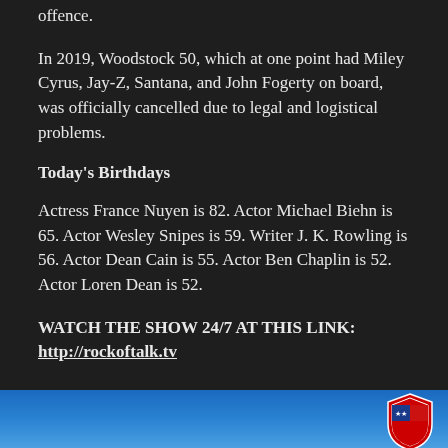offence.
In 2019, Woodstock 50, which at one point had Miley Cyrus, Jay-Z, Santana, and John Fogerty on board, was officially cancelled due to legal and logistical problems.
Today's Birthdays
Actress France Nuyen is 82. Actor Michael Biehn is 65. Actor Wesley Snipes is 59. Writer J. K. Rowling is 56. Actor Dean Cain is 55. Actor Ben Chaplin is 52. Actor Loren Dean is 52.
WATCH THE SHOW 24/7 AT THIS LINK: http://rockoftalk.tv
[Figure (photo): Blue background with a red, white and blue shield/logo on the right side]